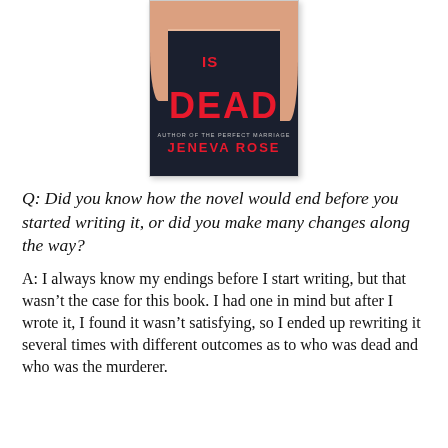[Figure (illustration): Book cover for a thriller novel showing a woman in a dark dress. The cover has a dark navy background with large red text reading 'DEAD' and smaller text above reading 'IS'. Author name 'JENEVA ROSE' appears in red at the bottom with 'AUTHOR OF THE PERFECT MARRIAGE' in small text above the name.]
Q: Did you know how the novel would end before you started writing it, or did you make many changes along the way?
A: I always know my endings before I start writing, but that wasn't the case for this book. I had one in mind but after I wrote it, I found it wasn't satisfying, so I ended up rewriting it several times with different outcomes as to who was dead and who was the murderer.